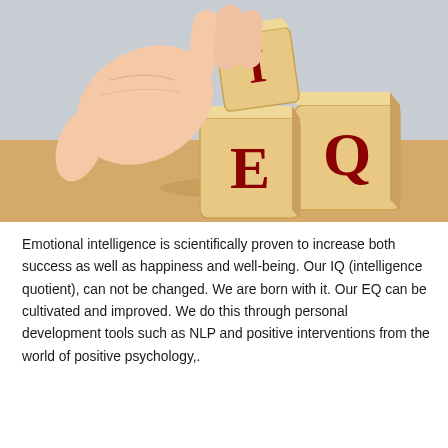[Figure (photo): A hand placing a wooden Scrabble-like block with the letter 'I' on top of two other wooden blocks spelling 'EQ', arranged on a wooden surface against a light grey background.]
Emotional intelligence is scientifically proven to increase both success as well as happiness and well-being. Our IQ (intelligence quotient), can not be changed. We are born with it. Our EQ can be cultivated and improved. We do this through personal development tools such as NLP and positive interventions from the world of positive psychology,.